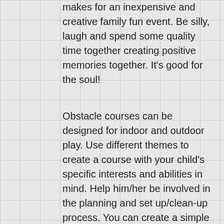makes for an inexpensive and creative family fun event. Be silly, laugh and spend some quality time together creating positive memories together. It’s good for the soul!
Obstacle courses can be designed for indoor and outdoor play. Use different themes to create a course with your child’s specific interests and abilities in mind. Help him/her be involved in the planning and set up/clean-up process. You can create a simple or elaborate obstacle course depending on the age(s) and mobility strengths/weaknesses. You can create modified wheelchair options as well. Use cones or a laundry basket to create a goal if you have them. You might try using blue non adhesive tape/ sidewalk chalk